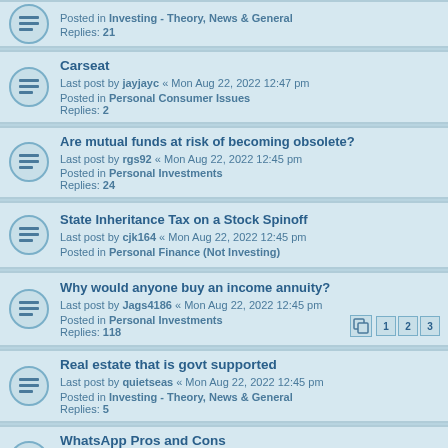Posted in Investing - Theory, News & General
Replies: 21
Carseat
Last post by jayjayc « Mon Aug 22, 2022 12:47 pm
Posted in Personal Consumer Issues
Replies: 2
Are mutual funds at risk of becoming obsolete?
Last post by rgs92 « Mon Aug 22, 2022 12:45 pm
Posted in Personal Investments
Replies: 24
State Inheritance Tax on a Stock Spinoff
Last post by cjk164 « Mon Aug 22, 2022 12:45 pm
Posted in Personal Finance (Not Investing)
Why would anyone buy an income annuity?
Last post by Jags4186 « Mon Aug 22, 2022 12:45 pm
Posted in Personal Investments
Replies: 118
Real estate that is govt supported
Last post by quietseas « Mon Aug 22, 2022 12:45 pm
Posted in Investing - Theory, News & General
Replies: 5
WhatsApp Pros and Cons
Last post by homebuyer6426 « Mon Aug 22, 2022 12:45 pm
Posted in Personal Consumer Issues
Replies: 20
WiFi - do I need more Mbps?
Last post by Mr.Wu « Mon Aug 22, 2022 12:44 pm
Posted in Personal Consumer Issues
Replies: 33